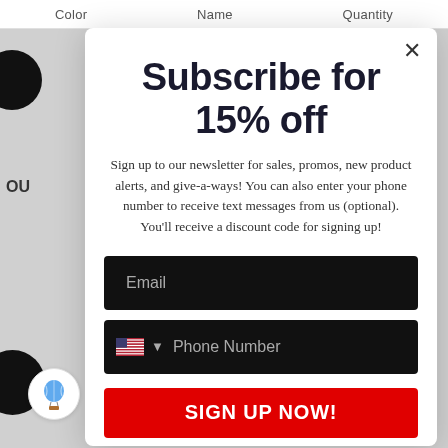Color   Name   Quantity
Subscribe for 15% off
Sign up to our newsletter for sales, promos, new product alerts, and give-a-ways! You can also enter your phone number to receive text messages from us (optional). You'll receive a discount code for signing up!
Email
Phone Number
SIGN UP NOW!